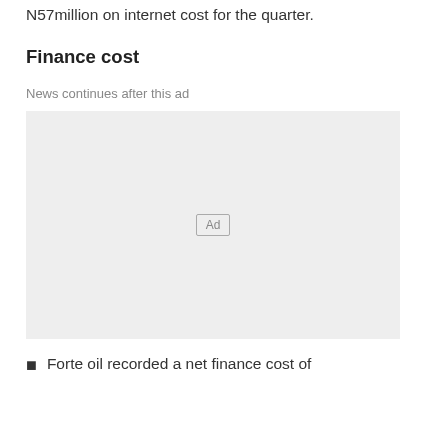N57million on internet cost for the quarter.
Finance cost
News continues after this ad
[Figure (other): Advertisement placeholder box with 'Ad' label]
Forte oil recorded a net finance cost of